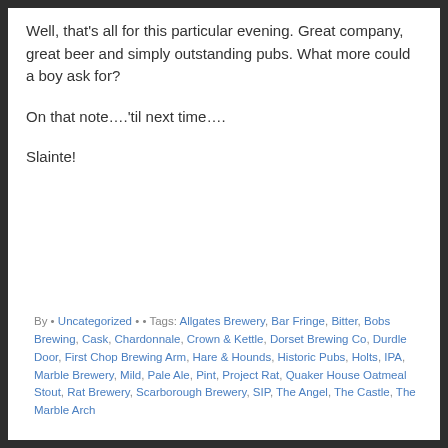Well, that's all for this particular evening. Great company, great beer and simply outstanding pubs. What more could a boy ask for?
On that note….'til next time….
Slainte!
By • Uncategorized • • Tags: Allgates Brewery, Bar Fringe, Bitter, Bobs Brewing, Cask, Chardonnale, Crown & Kettle, Dorset Brewing Co, Durdle Door, First Chop Brewing Arm, Hare & Hounds, Historic Pubs, Holts, IPA, Marble Brewery, Mild, Pale Ale, Pint, Project Rat, Quaker House Oatmeal Stout, Rat Brewery, Scarborough Brewery, SIP, The Angel, The Castle, The Marble Arch